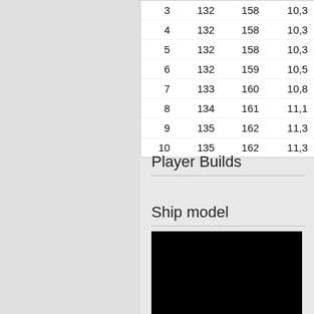| 3 | 132 | 158 | 10,3 |
| 4 | 132 | 158 | 10,3 |
| 5 | 132 | 158 | 10,3 |
| 6 | 132 | 159 | 10,5 |
| 7 | 133 | 160 | 10,8 |
| 8 | 134 | 161 | 11,1 |
| 9 | 135 | 162 | 11,3 |
| 10 | 135 | 162 | 11,3 |
Player Builds
Ship model
[Figure (photo): Black rectangular image area, appears to be a ship model photo]